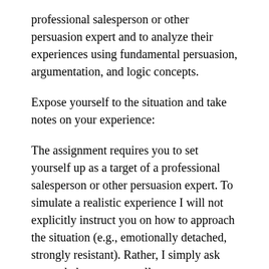professional salesperson or other persuasion expert and to analyze their experiences using fundamental persuasion, argumentation, and logic concepts.
Expose yourself to the situation and take notes on your experience:
The assignment requires you to set yourself up as a target of a professional salesperson or other persuasion expert. To simulate a realistic experience I will not explicitly instruct you on how to approach the situation (e.g., emotionally detached, strongly resistant). Rather, I simply ask you to behave as naturally as you can.